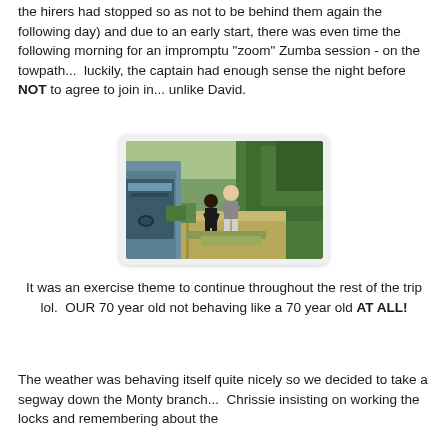the hirers had stopped so as not to be behind them again the following day) and due to an early start, there was even time the following morning for an impromptu "zoom" Zumba session - on the towpath...  luckily, the captain had enough sense the night before NOT to agree to join in... unlike David.
[Figure (photo): Two people jogging on a canal towpath beside a narrowboat, surrounded by green vegetation and trees.]
It was an exercise theme to continue throughout the rest of the trip lol.  OUR 70 year old not behaving like a 70 year old AT ALL!
The weather was behaving itself quite nicely so we decided to take a segway down the Monty branch...  Chrissie insisting on working the locks and remembering about the